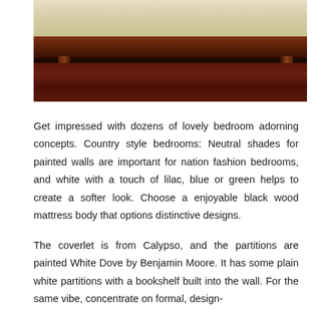[Figure (photo): Photo of a wooden bed frame with a light-colored mattress/coverlet, dark wood frame and legs, on a dark reddish-brown hardwood floor. View is from the foot of the bed looking toward the head.]
Get impressed with dozens of lovely bedroom adorning concepts. Country style bedrooms: Neutral shades for painted walls are important for nation fashion bedrooms, and white with a touch of lilac, blue or green helps to create a softer look. Choose a enjoyable black wood mattress body that options distinctive designs.
The coverlet is from Calypso, and the partitions are painted White Dove by Benjamin Moore. It has some plain white partitions with a bookshelf built into the wall. For the same vibe, concentrate on formal, design-